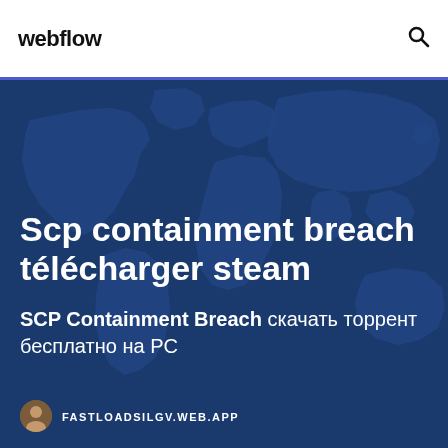webflow
[Figure (illustration): Dark blue world map background with lighter blue continent shapes]
Scp containment breach télécharger steam
SCP Containment Breach скачать торрент бесплатно на PC
FASTLOADSILGV.WEB.APP